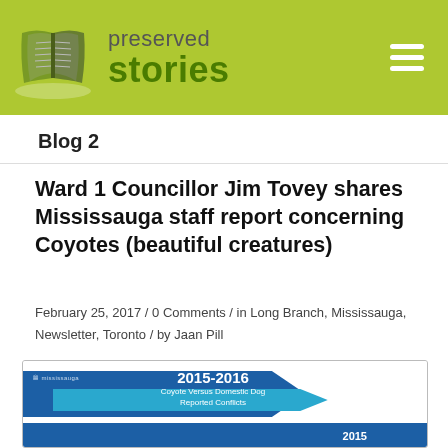preserved stories
Blog 2
Ward 1 Councillor Jim Tovey shares Mississauga staff report concerning Coyotes (beautiful creatures)
February 25, 2017 / 0 Comments / in Long Branch, Mississauga, Newsletter, Toronto / by Jaan Pill
[Figure (other): Mississauga staff report cover page titled '2015-2016 Coyote Versus Domestic Dog Reported Conflicts' with blue banner design and 2015 label at bottom]